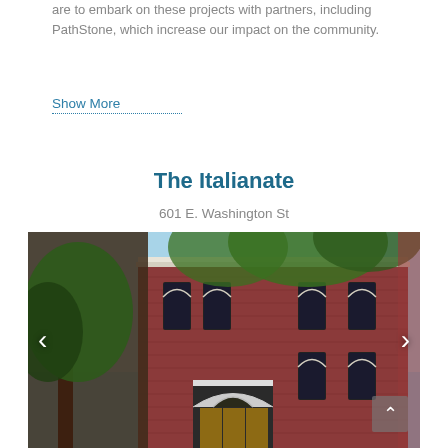are to embark on these projects with partners, including PathStone, which increase our impact on the community.
Show More
The Italianate
601 E. Washington St
[Figure (photo): Exterior photograph of The Italianate, a red brick multi-story building at 601 E. Washington St, with large trees in foreground, white cornice detail at top, arched windows, and a rounded bay window entry. Navigation arrows visible on left and right sides of the image.]